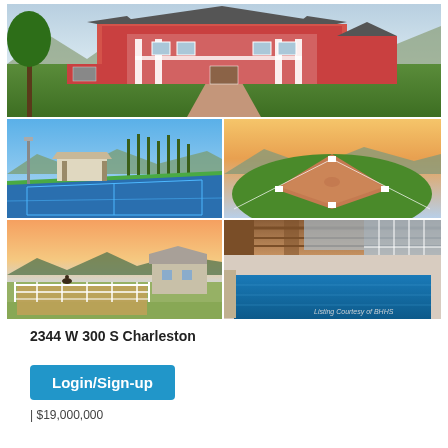[Figure (photo): Large colonial-style mansion with columns, red brick, white balconies, green lawn and tree, brick driveway, mountains in background]
[Figure (photo): Blue sport/tennis court with pavilion, tall cypress trees, mountains in background]
[Figure (photo): Baseball diamond with red clay infield, green outfield, mountains and sunset sky]
[Figure (photo): Horse arena at sunset with white fencing and barn, pastel sky]
[Figure (photo): Indoor pool with wood ceiling, large arched windows, blue pool, Listing Courtesy of BHHS watermark]
2344 W 300 S Charleston
| $19,000,000
Login/Sign-up